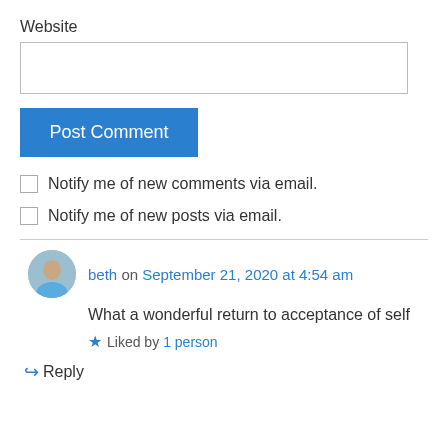Website
[Figure (other): Website input text field (empty)]
[Figure (other): Post Comment button (blue)]
Notify me of new comments via email.
Notify me of new posts via email.
beth on September 21, 2020 at 4:54 am
What a wonderful return to acceptance of self
Liked by 1 person
Reply